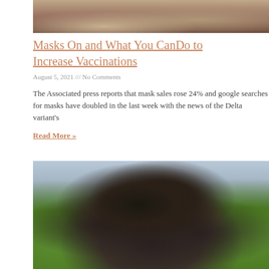[Figure (photo): Top portion of a photo showing what appears to be an animal with fur, cropped at the top of the page]
Masks On and What You CanDo to Increase Vaccinations
August 5, 2021 /// No Comments
The Associated press reports that mask sales rose 24% and google searches for masks have doubled in the last week with the news of the Delta variant's
Read More »
[Figure (photo): Photo of a smiling woman with long dark hair outdoors, with green bushes and a building in the background]